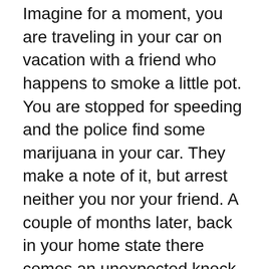Imagine for a moment, you are traveling in your car on vacation with a friend who happens to smoke a little pot. You are stopped for speeding and the police find some marijuana in your car. They make a note of it, but arrest neither you nor your friend. A couple of months later, back in your home state there comes an unexpected knock on the door. Handcuffs come out and off you go to spend up to 90 days in jail followed by extradition to the state where you incurred the ticket for speeding.
Preposterous? Of course, and it can't happen here. But it is happening to travelers within the states of the European Union. Here is Wikipedia's description of the law.
The European Arrest Warrant (EAW) is an arrest warrant valid throughout all member states of the European Union (EU). Once issued by a member